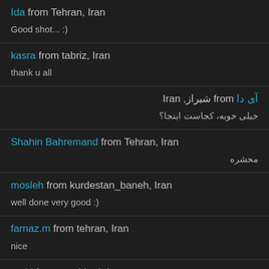Ida from Tehran, Iran
Good shot... :)
kasra from tabriz, Iran
thank u all
آی دا from شیراز, Iran
خیلی خوبه، کجاست اینجا؟
Shahin Bahremand from Tehran, Iran
محشره
mosleh from kurdestan_baneh, Iran
well done very good :)
farnaz.m from tehran, Iran
nice
omid from mashhad, Iran